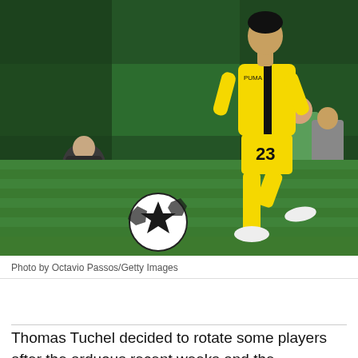[Figure (photo): A soccer player wearing a yellow jersey with number 23 and black accents (Borussia Dortmund kit) dribbling a Champions League ball on a green pitch. Background shows a stadium with spectators and staff in green bibs.]
Photo by Octavio Passos/Getty Images
Thomas Tuchel decided to rotate some players after the arduous recent weeks and the exhausting weeks